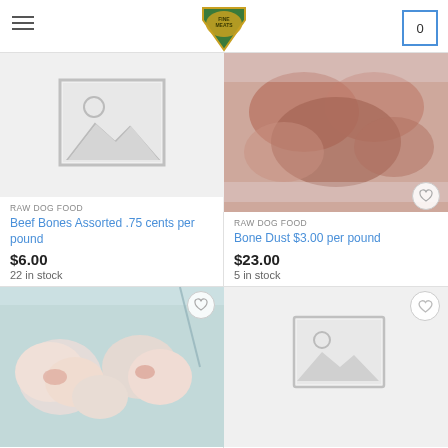Fine Meats store header with hamburger menu, logo, and cart (0)
RAW DOG FOOD
Beef Bones Assorted .75 cents per pound
$6.00
22 in stock
RAW DOG FOOD
Bone Dust $3.00 per pound
$23.00
5 in stock
[Figure (photo): Packaged raw chicken pieces in clear plastic bag]
[Figure (photo): Placeholder image icon for product with no photo]